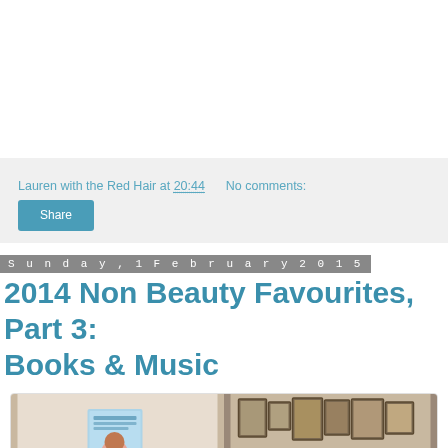Lauren with the Red Hair at 20:44    No comments:
Share
Sunday, 1 February 2015
2014 Non Beauty Favourites, Part 3: Books & Music
[Figure (photo): Two images side by side: left shows a book cover (Is Everyone Hanging Out Without Me? And Other Concerns) held by a woman in pink; right shows a band of four men seated around a table in a room with framed paintings on the wall.]